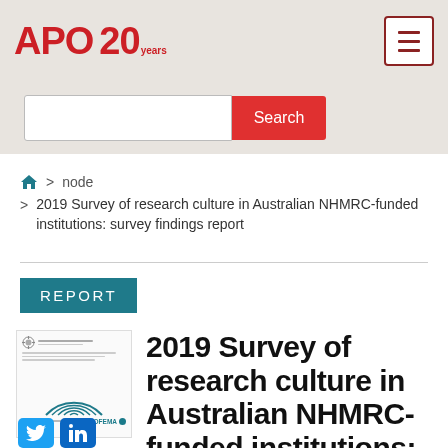[Figure (logo): APO 20 years logo in red]
Search
🏠 > node > 2019 Survey of research culture in Australian NHMRC-funded institutions: survey findings report
REPORT
[Figure (photo): Thumbnail of the report cover showing NHMRC branding and circular design]
2019 Survey of research culture in Australian NHMRC-funded institutions: